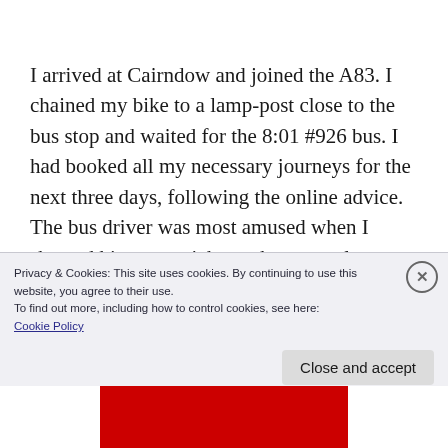I arrived at Cairndow and joined the A83. I chained my bike to a lamp-post close to the bus stop and waited for the 8:01 #926 bus. I had booked all my necessary journeys for the next three days, following the online advice. The bus driver was most amused when I showed him my e-ticket as he was only carrying one other passenger!
Privacy & Cookies: This site uses cookies. By continuing to use this website, you agree to their use.
To find out more, including how to control cookies, see here:
Cookie Policy
Close and accept